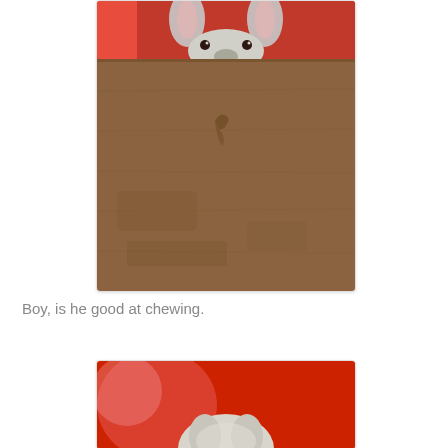[Figure (photo): A rabbit peeking over the edge of a wooden surface (like a door or board), with a red background. The rabbit's eyes and ears are visible above the wooden edge, which shows a chew mark. Close-up shot.]
Boy, is he good at chewing.
[Figure (photo): A rabbit's head visible from above, with a vivid red background with blurred red and pink tones. The rabbit appears to be a lop or similar breed with light fur.]